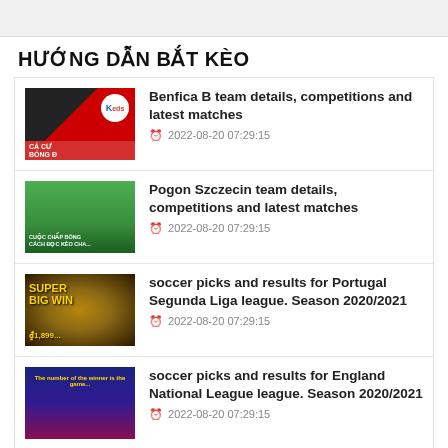HƯỚNG DẪN BẮT KÈO
Benfica B team details, competitions and latest matches
⏰ 2022-08-20 07:29:15
Pogon Szczecin team details, competitions and latest matches
⏰ 2022-08-20 07:29:15
soccer picks and results for Portugal Segunda Liga league. Season 2020/2021
⏰ 2022-08-20 07:29:15
soccer picks and results for England National League league. Season 2020/2021
⏰ 2022-08-20 07:29:15